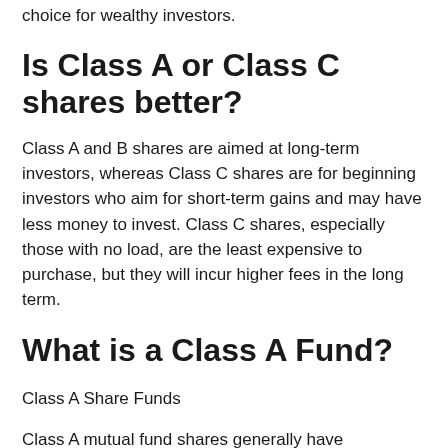choice for wealthy investors.
Is Class A or Class C shares better?
Class A and B shares are aimed at long-term investors, whereas Class C shares are for beginning investors who aim for short-term gains and may have less money to invest. Class C shares, especially those with no load, are the least expensive to purchase, but they will incur higher fees in the long term.
What is a Class A Fund?
Class A Share Funds
Class A mutual fund shares generally have